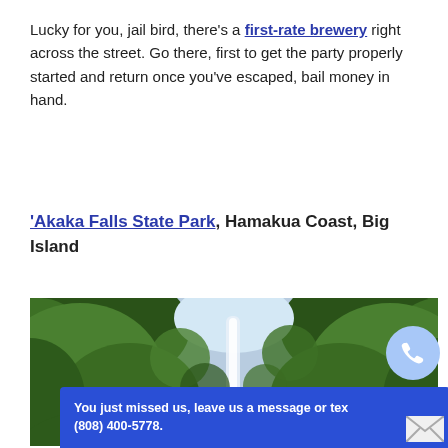Lucky for you, jail bird, there's a first-rate brewery right across the street. Go there, first to get the party properly started and return once you've escaped, bail money in hand.
'Akaka Falls State Park, Hamakua Coast, Big Island
[Figure (photo): Lush tropical forest with dense green foliage on both sides and a tall narrow waterfall visible in the center background, with a bright sky above.]
You just missed us, leave us a message or text (808) 400-5778.